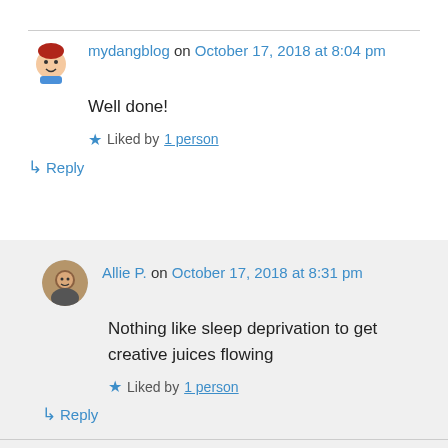mydangblog on October 17, 2018 at 8:04 pm
Well done!
Liked by 1 person
↳ Reply
Allie P. on October 17, 2018 at 8:31 pm
Nothing like sleep deprivation to get creative juices flowing
Liked by 1 person
↳ Reply